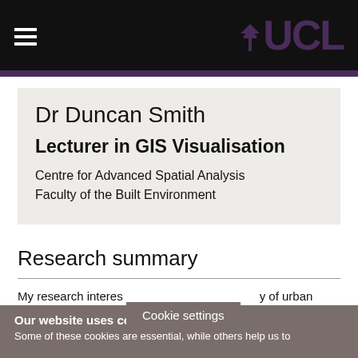UCL
Dr Duncan Smith
Lecturer in GIS Visualisation
Centre for Advanced Spatial Analysis
Faculty of the Built Environment
Research summary
My research interes...y of urban
Our website uses cookies
Some of these cookies are essential, while others help us to